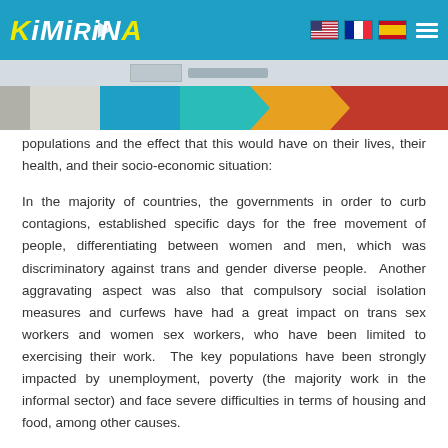KiMiRiNA
populations and the effect that this would have on their lives, their health, and their socio-economic situation:
In the majority of countries, the governments in order to curb contagions, established specific days for the free movement of people, differentiating between women and men, which was discriminatory against trans and gender diverse people. Another aggravating aspect was also that compulsory social isolation measures and curfews have had a great impact on trans sex workers and women sex workers, who have been limited to exercising their work. The key populations have been strongly impacted by unemployment, poverty (the majority work in the informal sector) and face severe difficulties in terms of housing and food, among other causes.